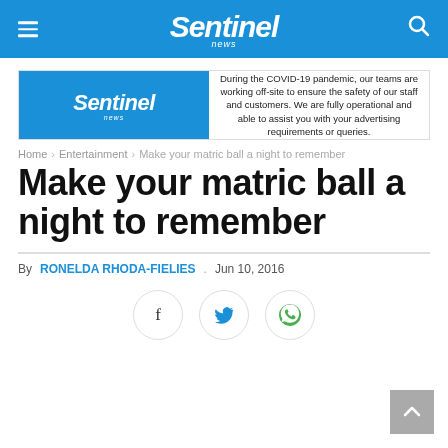Sentinel news
[Figure (other): Sentinel News advertisement banner with logo and COVID-19 notice text: During the COVID-19 pandemic, our teams are working off-site to ensure the safety of our staff and customers. We are fully operational and able to assist you with your advertising requirements or queries.]
Home > Entertainment > Make your matric ball a night to remember
Make your matric ball a night to remember
By RONELDA RHODA-FIELIES  .  Jun 10, 2016